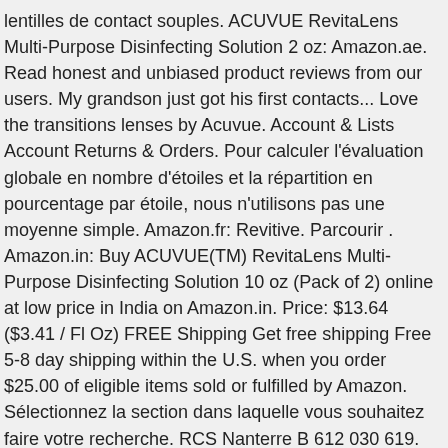lentilles de contact souples. ACUVUE RevitaLens Multi-Purpose Disinfecting Solution 2 oz: Amazon.ae. Read honest and unbiased product reviews from our users. My grandson just got his first contacts... Love the transitions lenses by Acuvue. Account & Lists Account Returns & Orders. Pour calculer l'évaluation globale en nombre d'étoiles et la répartition en pourcentage par étoile, nous n'utilisons pas une moyenne simple. Amazon.fr: Revitive. Parcourir . Amazon.in: Buy ACUVUE(TM) RevitaLens Multi-Purpose Disinfecting Solution 10 oz (Pack of 2) online at low price in India on Amazon.in. Price: $13.64 ($3.41 / Fl Oz) FREE Shipping Get free shipping Free 5-8 day shipping within the U.S. when you order $25.00 of eligible items sold or fulfilled by Amazon. Sélectionnez la section dans laquelle vous souhaitez faire votre recherche. RCS Nanterre B 612 030 619. Chercher. Best contact lens solution I've used. Buy ACUVUE RevitaLens Multi-Purpose Disinfecting Solution 10 oz (2 Count) online on Amazon.ae at best prices. Page précédente des produits sponsorisés connexes. Page suivante des